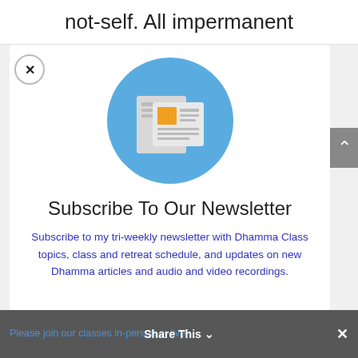not-self. All impermanent
[Figure (illustration): Newsletter subscription icon: blue circle with newspaper/document icon featuring an orange square and grey lines representing text]
Subscribe To Our Newsletter
Subscribe to my tri-weekly newsletter with Dhamma Class topics, class and retreat schedule, and updates on new Dhamma articles and audio and video recordings.
Share This  Please join our classes in-person or live-